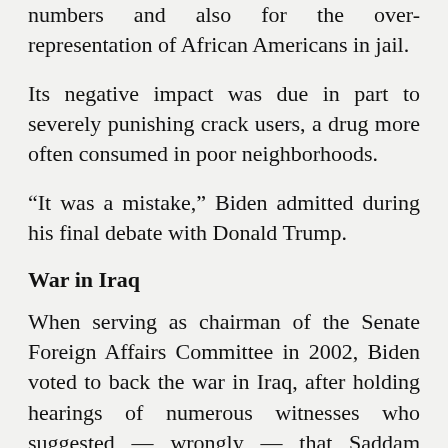numbers and also for the over-representation of African Americans in jail.
Its negative impact was due in part to severely punishing crack users, a drug more often consumed in poor neighborhoods.
“It was a mistake,” Biden admitted during his final debate with Donald Trump.
War in Iraq
When serving as chairman of the Senate Foreign Affairs Committee in 2002, Biden voted to back the war in Iraq, after holding hearings of numerous witnesses who suggested — wrongly — that Saddam Hussein’s regime possessed weapons of destruction massive.
He again has said that his stance was a mistake in